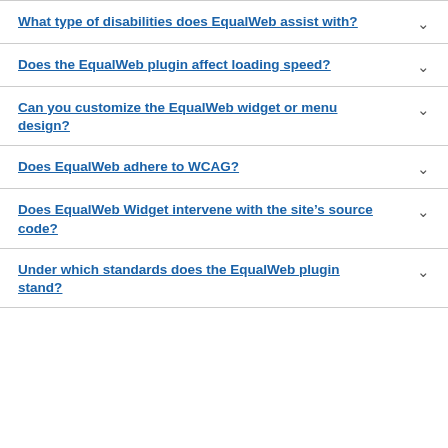What type of disabilities does EqualWeb assist with?
Does the EqualWeb plugin affect loading speed?
Can you customize the EqualWeb widget or menu design?
Does EqualWeb adhere to WCAG?
Does EqualWeb Widget intervene with the site’s source code?
Under which standards does the EqualWeb plugin stand?